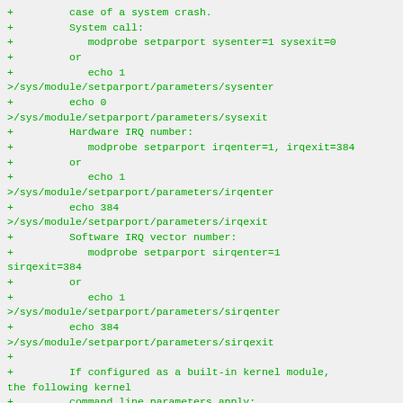+         case of a system crash.
+         System call:
+            modprobe setparport sysenter=1 sysexit=0
+         or
+            echo 1
>/sys/module/setparport/parameters/sysenter
+         echo 0
>/sys/module/setparport/parameters/sysexit
+         Hardware IRQ number:
+            modprobe setparport irqenter=1, irqexit=384
+         or
+            echo 1
>/sys/module/setparport/parameters/irqenter
+         echo 384
>/sys/module/setparport/parameters/irqexit
+         Software IRQ vector number:
+            modprobe setparport sirqenter=1
sirqexit=384
+         or
+            echo 1
>/sys/module/setparport/parameters/sirqenter
+         echo 384
>/sys/module/setparport/parameters/sirqexit
+
+         If configured as a built-in kernel module, the following kernel
+         command line parameters apply:
+            setparport=<actions>,<nmicode>
+            setparportirq=<irqenter>,<irqexit>
+            setparportsirq=<sirqenter>,<sirqexit>